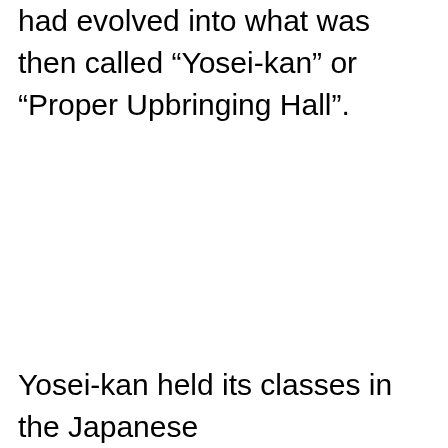had evolved into what was then called “Yosei-kan” or “Proper Upbringing Hall”.
Yosei-kan held its classes in the Japanese